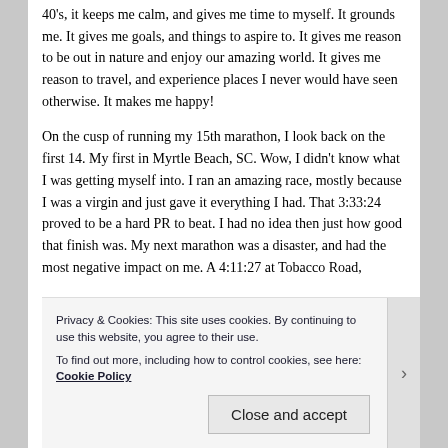40's, it keeps me calm, and gives me time to myself.  It grounds me.  It gives me goals, and things to aspire to.  It gives me reason to be out in nature and enjoy our amazing world.  It gives me reason to travel, and experience places I never would have seen otherwise.  It makes me happy!
On the cusp of running my 15th marathon, I look back on the first 14.  My first in Myrtle Beach, SC.  Wow, I didn't know what I was getting myself into.  I ran an amazing race, mostly because I was a virgin and just gave it everything I had.  That 3:33:24 proved to be a hard PR to beat.  I had no idea then just how good that finish was.  My next marathon was a disaster, and had the most negative impact on me.  A 4:11:27 at Tobacco Road,
Privacy & Cookies: This site uses cookies. By continuing to use this website, you agree to their use.
To find out more, including how to control cookies, see here: Cookie Policy